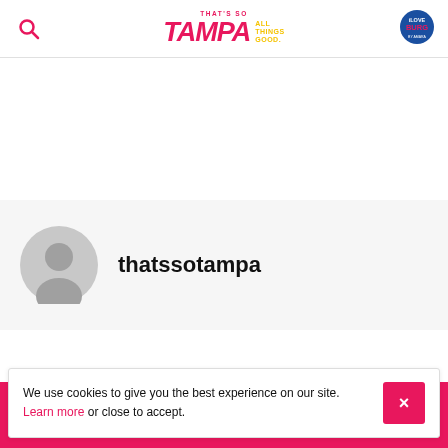That's So Tampa — All Things Good. [Logo with iLoveBurg badge]
[Figure (logo): That's So Tampa logo with pink stylized text and yellow 'ALL THINGS GOOD.' tagline, plus iLoveBurg circular badge on right]
thatssotampa
We use cookies to give you the best experience on our site. Learn more or close to accept.